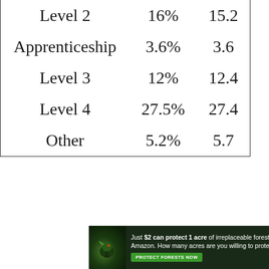| Level 2 | 16% | 15.2 |
| Apprenticeship | 3.6% | 3.6 |
| Level 3 | 12% | 12.4 |
| Level 4 | 27.5% | 27.4 |
| Other | 5.2% | 5.7 |
[Figure (photo): Advertisement banner with dark forest background, bird image on left, text reading 'Just $2 can protect 1 acre of irreplaceable forest homes in the Amazon. How many acres are you willing to protect?' and a green 'PROTECT FORESTS NOW' button.]